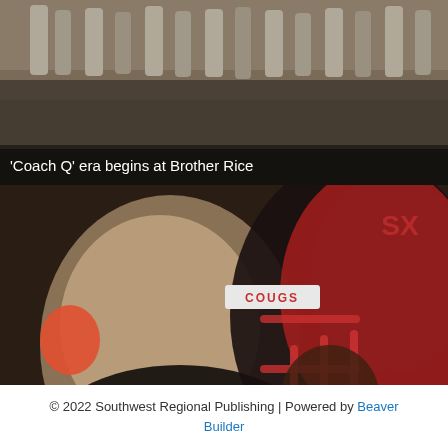[Figure (photo): Top banner photo showing athletes' legs on a field, with caption overlay reading ''Coach Q' era begins at Brother Rice']
'Coach Q' era begins at Brother Rice
[Figure (photo): Large photo of a coach and a football player wearing a red helmet with COUGS logo, Saint Xavier football team]
Area Sports Roundup: Saint Xavier football tabbed 11th in preseason rankings
© 2022 Southwest Regional Publishing | Powered by Beaver Builder